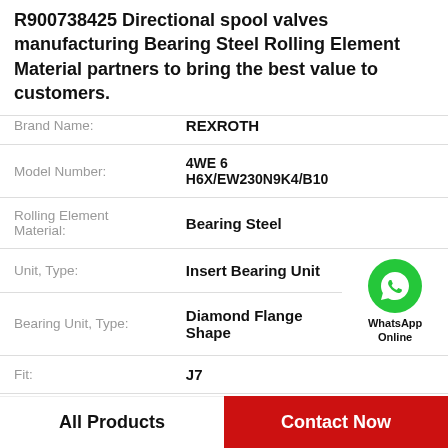R900738425 Directional spool valves manufacturing Bearing Steel Rolling Element Material partners to bring the best value to customers.
| Attribute | Value |
| --- | --- |
| Brand Name: | REXROTH |
| Model Number: | 4WE 6 H6X/EW230N9K4/B10 |
| Rolling Element Material: | Bearing Steel |
| Unit, Type: | Insert Bearing Unit |
| Bearing Unit, Type: | Diamond Flange Shape |
| Fit: | J7 |
| Machining: | Cast iron cover moun |
| Bearing Inner Dia. Shape: | Cylindrical Bore Set |
All Products
Contact Now